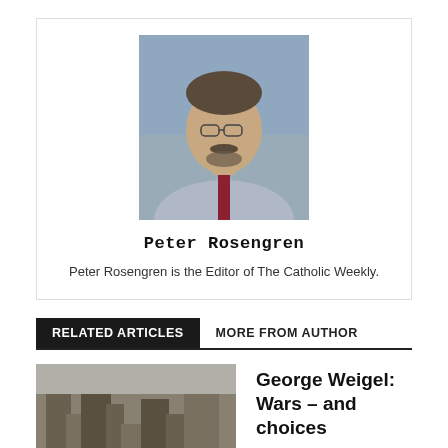[Figure (photo): Headshot photo of Peter Rosengren, a middle-aged man with glasses, mustache and beard, wearing a light grey suit jacket and dark red tie.]
Peter Rosengren
Peter Rosengren is the Editor of The Catholic Weekly.
RELATED ARTICLES   MORE FROM AUTHOR
[Figure (photo): Black and white photo of war ruins or destroyed buildings, with text label 'George Weigel' overlaid at the bottom.]
George Weigel: Wars – and choices
[Figure (photo): Photo of two men standing together, appearing to be at a faith event with a teal/blue background banner.]
Men take faith to heart